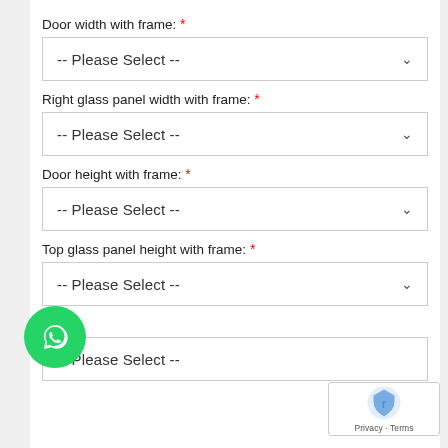Door width with frame: *
-- Please Select --
Right glass panel width with frame: *
-- Please Select --
Door height with frame: *
-- Please Select --
Top glass panel height with frame: *
-- Please Select --
pe: *
-- Please Select --